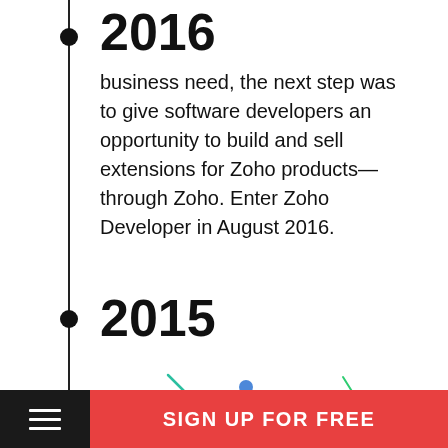2016
business need, the next step was to give software developers an opportunity to build and sell extensions for Zoho products—through Zoho. Enter Zoho Developer in August 2016.
2015
[Figure (illustration): Large outlined '15' numeral in coral/red with colorful confetti decorations scattered around it, celebrating a 15th anniversary.]
SIGN UP FOR FREE